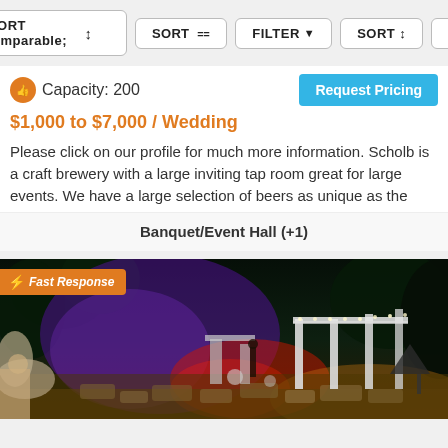FILTER  SORT  MAP  ?
Capacity: 200
Request Pricing
$1,000 to $7,000 / Wedding
Please click on our profile for much more information. Scholb is a craft brewery with a large inviting tap room great for large events. We have a large selection of beers as unique as the
Banquet/Event Hall (+1)
[Figure (photo): Outdoor night venue photo with purple and red lighting, white pergola/columns, stone patio, and trees. A 'Fast Response' badge is overlaid in the top-left corner.]